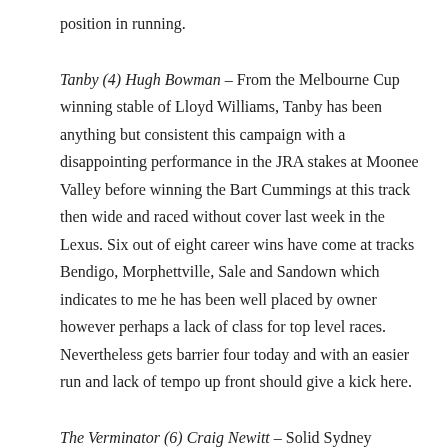position in running.
Tanby (4) Hugh Bowman – From the Melbourne Cup winning stable of Lloyd Williams, Tanby has been anything but consistent this campaign with a disappointing performance in the JRA stakes at Moonee Valley before winning the Bart Cummings at this track then wide and raced without cover last week in the Lexus. Six out of eight career wins have come at tracks Bendigo, Morphettville, Sale and Sandown which indicates to me he has been well placed by owner however perhaps a lack of class for top level races. Nevertheless gets barrier four today and with an easier run and lack of tempo up front should give a kick here.
The Verminator (6) Craig Newitt – Solid Sydney performer